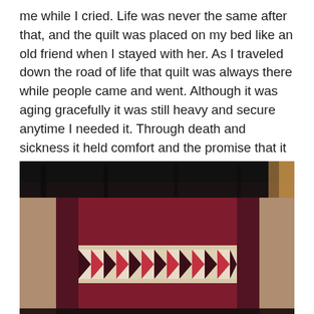me while I cried. Life was never the same after that, and the quilt was placed on my bed like an old friend when I stayed with her. As I traveled down the road of life that quilt was always there while people came and went. Although it was aging gracefully it was still heavy and secure anytime I needed it. Through death and sickness it held comfort and the promise that it would never desert me. This quilt held my life with all the bits and pieces, joys and sorrows that had been stitched into it with love.
[Figure (photo): A photograph of a large decorative quilt displayed indoors, featuring a dark red/maroon center panel with beige/tan border strips and a horizontal band of geometric triangle patterns (flying geese or similar quilt blocks) across the middle. The ceiling of the room is visible at the top of the image.]